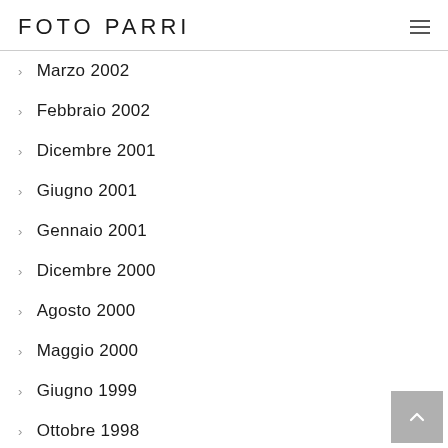FOTO PARRI
Marzo 2002
Febbraio 2002
Dicembre 2001
Giugno 2001
Gennaio 2001
Dicembre 2000
Agosto 2000
Maggio 2000
Giugno 1999
Ottobre 1998